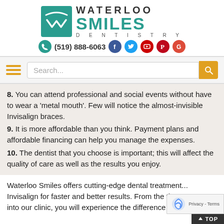[Figure (logo): Waterloo Smiles Dentistry logo with teal square icon and bold text, plus phone number (519) 888-6063 and social media icons (Facebook, Twitter, YouTube, Pinterest, Google)]
[Figure (screenshot): Navigation bar with orange hamburger menu icon and search box with orange search button]
8. You can attend professional and social events without have to wear a 'metal mouth'. Few will notice the almost-invisible Invisalign braces.
9. It is more affordable than you think. Payment plans and affordable financing can help you manage the expenses.
10. The dentist that you choose is important; this will affect the quality of care as well as the results you enjoy.
Waterloo Smiles offers cutting-edge dental treatment... Invisalign for faster and better results. From the time... step into our clinic, you will experience the difference that...